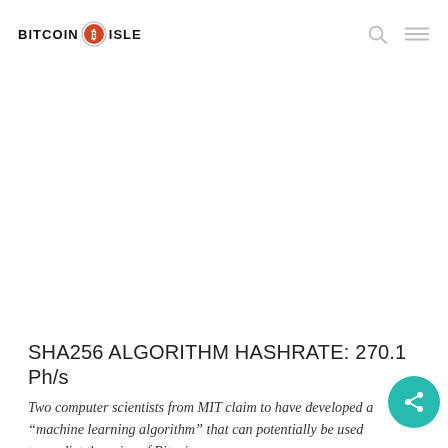BITCOIN ISLE
SHA256 ALGORITHM HASHRATE: 270.1 Ph/s
Two computer scientists from MIT claim to have developed a “machine learning algorithm” that can potentially be used to predict the price of Bitcoin.